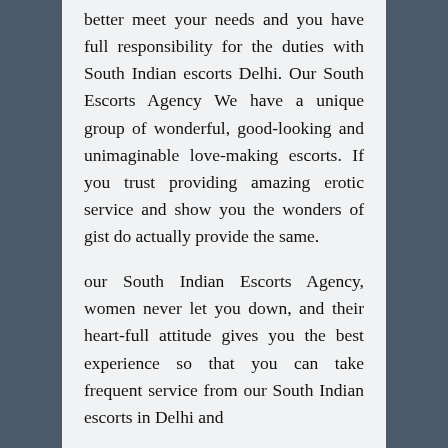better meet your needs and you have full responsibility for the duties with South Indian escorts Delhi. Our South Escorts Agency We have a unique group of wonderful, good-looking and unimaginable love-making escorts. If you trust providing amazing erotic service and show you the wonders of gist do actually provide the same.

our South Indian Escorts Agency, women never let you down, and their heart-full attitude gives you the best experience so that you can take frequent service from our South Indian escorts in Delhi and